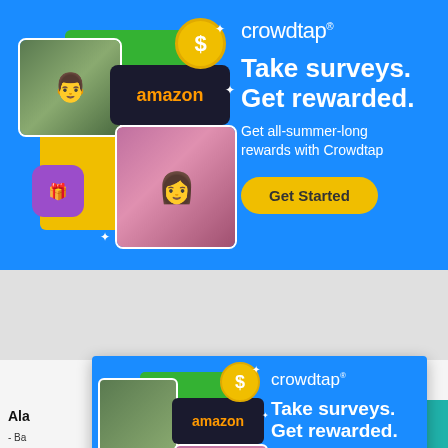[Figure (advertisement): Crowdtap advertisement banner (large). Blue background with photo collage on left (bearded man, woman with sunglasses making peace sign, Amazon gift card, gift box icon, dollar coin). Right side: Crowdtap logo, 'Take surveys. Get rewarded. Get all-summer-long rewards with Crowdtap', yellow 'Get Started' button.]
[Figure (advertisement): Crowdtap horizontal banner strip. Shows logo, 'Take surveys. Get rewarded.' text, small icons, woman photo, Amazon card, coin, and 'Get Started' button.]
[Figure (screenshot): Sports Radio logo/header bar with hamburger menu and close X button overlay from a website.]
[Figure (advertisement): Crowdtap popup advertisement (smaller). Blue background with same photo collage (man, woman, Amazon card, gift box, dollar coin). Right side: Crowdtap logo, 'Take surveys. Get rewarded. Get all-summer-long rewards with Crowdtap', yellow 'Get Started' button.]